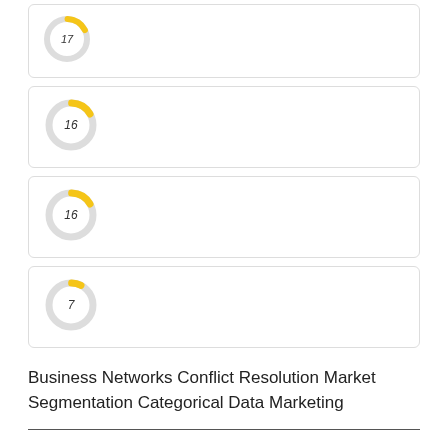[Figure (donut-chart): 17]
[Figure (donut-chart): 16]
[Figure (donut-chart): 16]
[Figure (donut-chart): 7]
Business Networks Conflict Resolution Market Segmentation Categorical Data Marketing